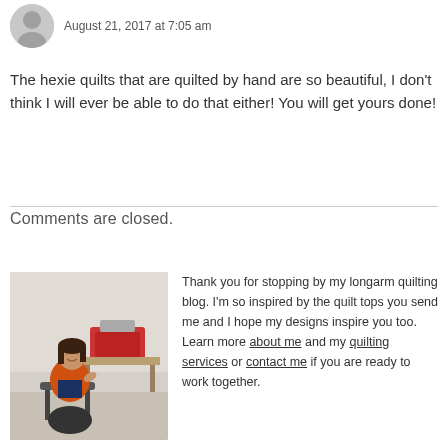August 21, 2017 at 7:05 am
The hexie quilts that are quilted by hand are so beautiful, I don't think I will ever be able to do that either! You will get yours done!
Comments are closed.
[Figure (photo): Photo of a woman in an orange jacket sitting in a quilting studio with a sewing machine in the background]
Thank you for stopping by my longarm quilting blog. I'm so inspired by the quilt tops you send me and I hope my designs inspire you too. Learn more about me and my quilting services or contact me if you are ready to work together.